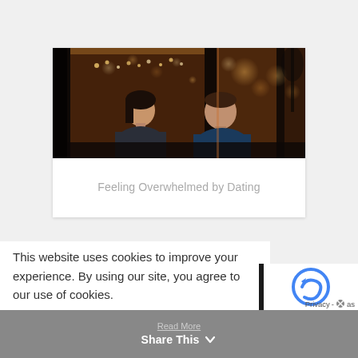[Figure (photo): Two people sitting across from each other at a restaurant or cafe at night, with bokeh city lights and reflections visible through large windows behind them. Warm amber tones.]
Feeling Overwhelmed by Dating
This website uses cookies to improve your experience. By using our site, you agree to our use of cookies.
Read More  Share This